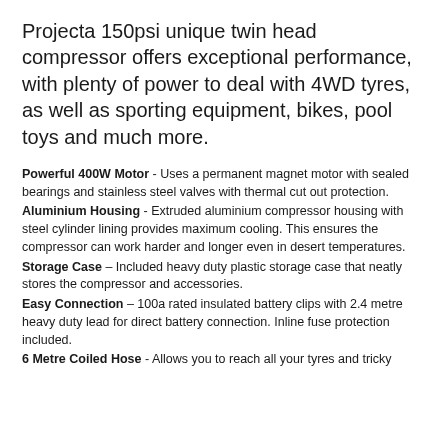Projecta 150psi unique twin head compressor offers exceptional performance, with plenty of power to deal with 4WD tyres, as well as sporting equipment, bikes, pool toys and much more.
Powerful 400W Motor - Uses a permanent magnet motor with sealed bearings and stainless steel valves with thermal cut out protection.
Aluminium Housing - Extruded aluminium compressor housing with steel cylinder lining provides maximum cooling. This ensures the compressor can work harder and longer even in desert temperatures.
Storage Case – Included heavy duty plastic storage case that neatly stores the compressor and accessories.
Easy Connection – 100a rated insulated battery clips with 2.4 metre heavy duty lead for direct battery connection. Inline fuse protection included.
6 Metre Coiled Hose - Allows you to reach all your tyres and tricky